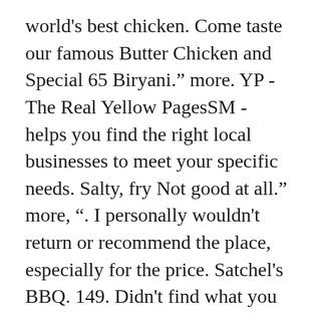world's best chicken. Come taste our famous Butter Chicken and Special 65 Biryani.” more. YP - The Real Yellow PagesSM - helps you find the right local businesses to meet your specific needs. Salty, fry Not good at all.” more, “. I personally wouldn't return or recommend the place, especially for the price. Satchel's BBQ. 149. Didn't find what you were looking for? A bit pricey and usually rather crowded, but the food and service more than make up for it. Start to finish: 1 hour. Please help others by helping us do better. Enjoy the best Fried chicken sandwich takeout Ann Arbor offers with Uber Eats. 2865 Carpenter Road, Ann Arbor, MI 48108 Directions Since 2007. Top